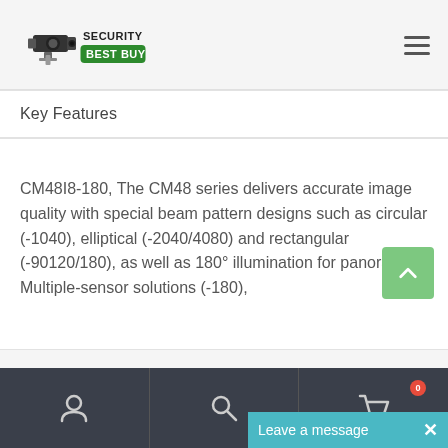[Figure (logo): Security Best Buy logo with CCTV camera icon and green banner]
Key Features
CM48I8-180, The CM48 series delivers accurate image quality with special beam pattern designs such as circular (-1040), elliptical (-2040/4080) and rectangular (-90120/180), as well as 180° illumination for panoramic Multiple-sensor solutions (-180),
Leave a message